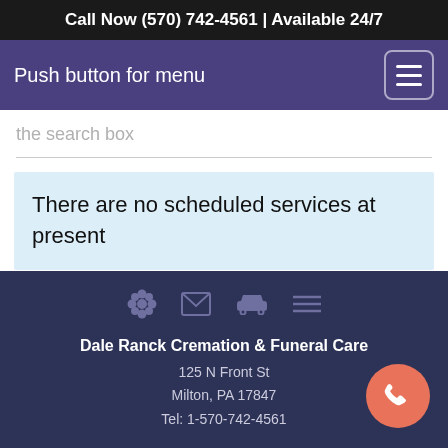Call Now (570) 742-4561 | Available 24/7
Push button for menu
the search box
There are no scheduled services at present
Dale Ranck Cremation & Funeral Care
125 N Front St
Milton, PA 17847
Tel: 1-570-742-4561